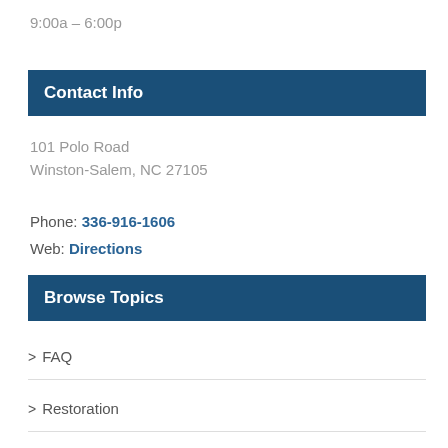9:00a – 6:00p
Contact Info
101 Polo Road
Winston-Salem, NC 27105
Phone: 336-916-1606
Web: Directions
Browse Topics
> FAQ
> Restoration